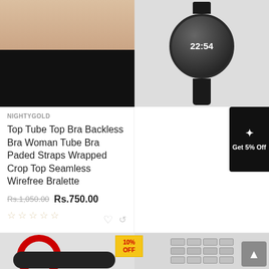[Figure (photo): Woman wearing a black tube/bandeau bra/bralette, cropped torso view]
[Figure (photo): Black Haylou RT LS05 smart watch with round dial showing 22:54]
NIGHTYGOLD
Top Tube Top Bra Backless Bra Woman Tube Bra Paded Straps Wrapped Crop Top Seamless Wirefree Bralette
Rs.1,050.00  Rs.750.00
☆☆☆☆☆ (empty stars rating)
SHAPEWEAR.PK
Original Haylou RT LS05 Smart Watch Best Round Dial Smart Watch
Rs.8,499.00  Rs.7,299.00
★★★★★ (5 stars rating)
[Figure (photo): Red circular smartwatch band and black watch strap partially visible]
[Figure (photo): Metal bracelet watch link/clasp piece, silver colored]